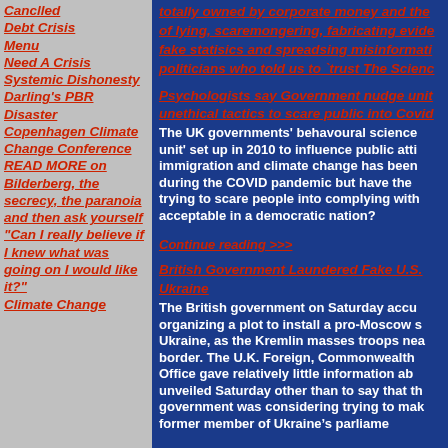Canclled
Debt Crisis
Menu
Need A Crisis
Systemic Dishonesty
Darling's PBR Disaster
Copenhagen Climate Change Conference
READ MORE on Bilderberg, the secrecy, the paranoia and then ask yourself "Can I really believe if I knew what was going on I would like it?"
Climate Change
totally owned by corporate money and the of lying, scaremongering, fabricating evide fake statisics and spreadsing misinformati politicians who told us to `trust The Scien
Psychologists say Government nudge unit unethical tactics to scare public into Covid
The UK governments' behavoural science unit' set up in 2010 to influence public atti immigration and climate change has been during the COVID pandemic but have the trying to scare people into complying with acceptable in a democratic nation?
Continue reading >>>
British Government Laundered Fake U.S. Ukraine
The British government on Saturday accu organizing a plot to install a pro-Moscow s Ukraine, as the Kremlin masses troops nea border. The U.K. Foreign, Commonwealth Office gave relatively little information ab unveiled Saturday other than to say that th government was considering trying to mak former member of Ukraine’s parliame